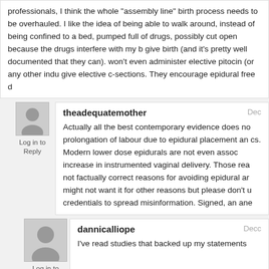professionals, I think the whole "assembly line" birth process needs to be overhauled. I like the idea of being able to walk around, instead of being confined to a bed, pumped full of drugs, possibly cut open because the drugs interfere with my body's ability to give birth (and it's pretty well documented that they can). My midwives won't even administer elective pitocin (or any other induction agents) or give elective c-sections. They encourage epidural free d
theadequatemother
Actually all the best contemporary evidence does not support a prolongation of labour due to epidural placement and increased cs. Modern lower dose epidurals are not even associated with an increase in instrumented vaginal delivery. Those reasons are not factually correct reasons for avoiding epidural analgesia. You might not want it for other reasons but please don't use your credentials to spread misinformation. Signed, an ane
dannicalliope
I've read studies that backed up my statements